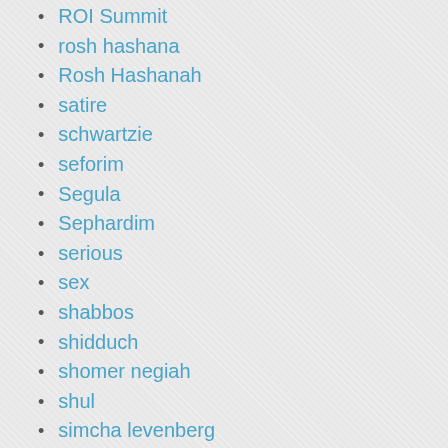ROI Summit
rosh hashana
Rosh Hashanah
satire
schwartzie
seforim
Segula
Sephardim
serious
sex
shabbos
shidduch
shomer negiah
shul
simcha levenberg
simchas
Social Issues
Social Networking
Sports
stand up